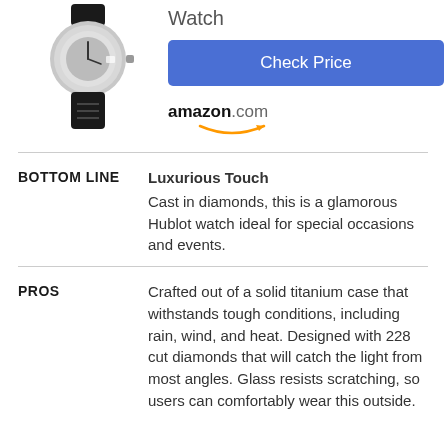[Figure (photo): Product image of a luxury Hublot watch with diamond-encrusted dial and black leather strap, shown partially at top of page]
Watch
Check Price
[Figure (logo): Amazon.com logo with smile arc underneath]
BOTTOM LINE
Luxurious Touch
Cast in diamonds, this is a glamorous Hublot watch ideal for special occasions and events.
PROS
Crafted out of a solid titanium case that withstands tough conditions, including rain, wind, and heat. Designed with 228 cut diamonds that will catch the light from most angles. Glass resists scratching, so users can comfortably wear this outside.